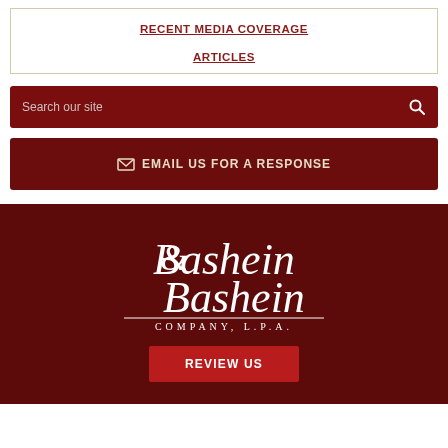RECENT MEDIA COVERAGE
ARTICLES
Search our site
EMAIL US FOR A RESPONSE
[Figure (logo): Bashein & Bashein Company, L.P.A. logo in white on dark red background]
REVIEW US